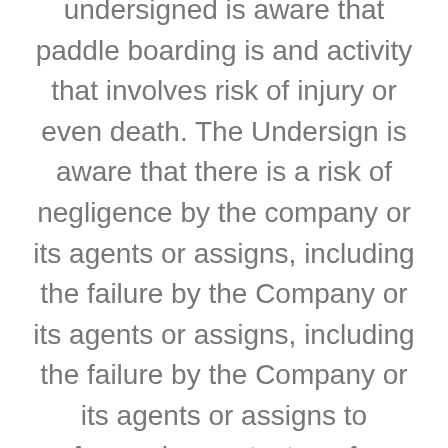undersigned is aware that paddle boarding is and activity that involves risk of injury or even death. The Undersign is aware that there is a risk of negligence by the company or its agents or assigns, including the failure by the Company or its agents or assigns, including the failure by the Company or its agents or assigns to safeguard or protect me from or warn me of risks, dangers and hazards of paddle boarding/kayaking or any other type of water activity. I freely accept and fully assume all risks, dangers and hazards associated with participating